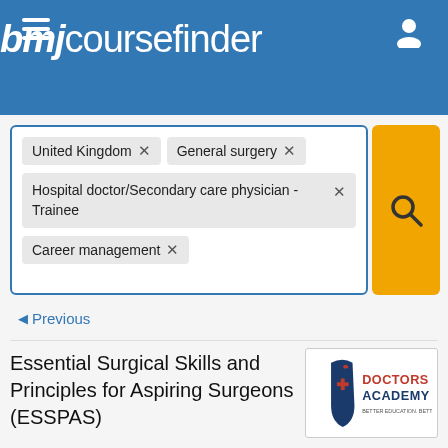bmjcoursefinder
United Kingdom × | General surgery × | Hospital doctor/Secondary care physician - Trainee × | Career management ×
◄ Previous
Essential Surgical Skills and Principles for Aspiring Surgeons (ESSPAS)